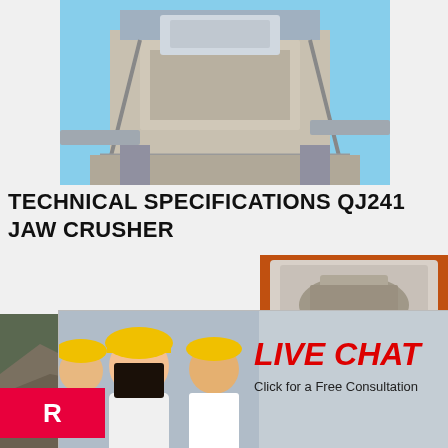[Figure (photo): Industrial jaw crusher machinery / processing plant viewed from below, large equipment on elevated structure]
TECHNICAL SPECIFICATIONS QJ241 JAW CRUSHER
[Figure (photo): Live chat popup with three workers wearing yellow hard hats, LIVE CHAT text in red italic, Click for a Free Consultation, Chat now and Chat later buttons]
[Figure (photo): Mining/quarry site with jaw crusher equipment operating in rocky terrain]
[Figure (photo): Right sidebar with orange background showing crusher product images, Enjoy 3% discount, Click to Chat, Enquiry, limingjlmofen@sina.com]